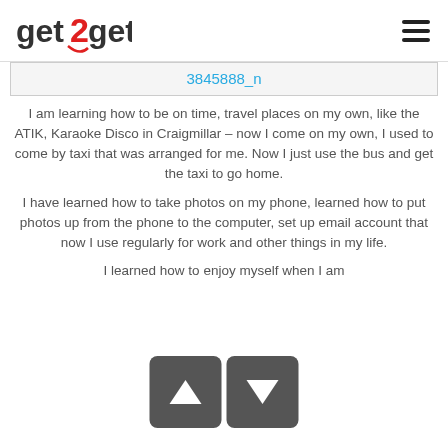[Figure (logo): get2gether logo with red numeral 2]
3845888_n
I am learning how to be on time, travel places on my own, like the ATIK, Karaoke Disco in Craigmillar – now I come on my own, I used to come by taxi that was arranged for me. Now I just use the bus and get the taxi to go home.
I have learned how to take photos on my phone, learned how to put photos up from the phone to the computer, set up email account that now I use regularly for work and other things in my life.
I learned how to enjoy myself when I am
[Figure (other): Navigation arrows overlay: up arrow and down arrow buttons in dark grey rounded squares]